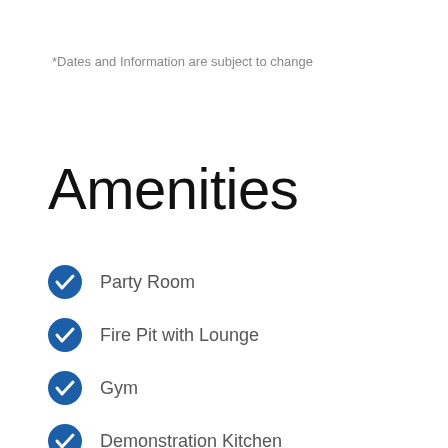*Dates and Information are subject to change
Amenities
Party Room
Fire Pit with Lounge
Gym
Demonstration Kitchen
BBQ Area
Rooftop Terrace